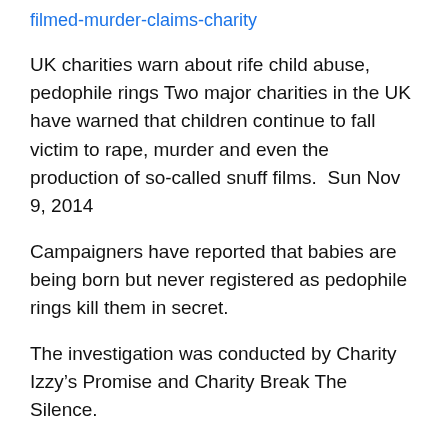filmed-murder-claims-charity
UK charities warn about rife child abuse, pedophile rings Two major charities in the UK have warned that children continue to fall victim to rape, murder and even the production of so-called snuff films.  Sun Nov 9, 2014
Campaigners have reported that babies are being born but never registered as pedophile rings kill them in secret.
The investigation was conducted by Charity Izzy’s Promise and Charity Break The Silence.
In Scotland, the two charities say, such terrifying cults have been left unchecked for years. They have found also that ritual abuse rings are still operating.
Scottish police now say they are taking the claims “incredibly seriously”.